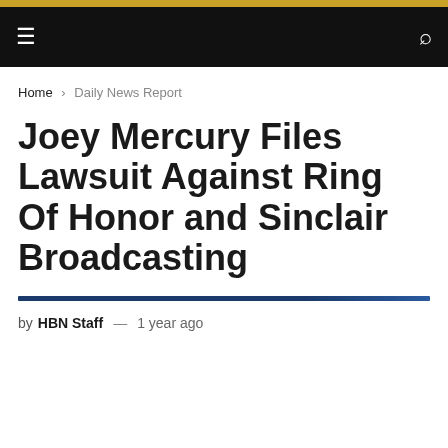☰  🔍
Home › Daily News Report
Joey Mercury Files Lawsuit Against Ring Of Honor and Sinclair Broadcasting
by HBN Staff — 1 year ago